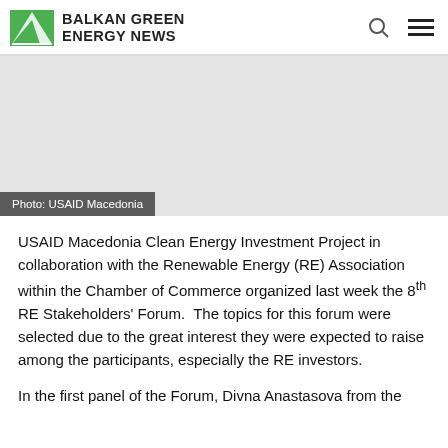BALKAN GREEN ENERGY NEWS
[Figure (photo): Photo area with caption: Photo: USAID Macedonia]
Photo: USAID Macedonia
USAID Macedonia Clean Energy Investment Project in collaboration with the Renewable Energy (RE) Association within the Chamber of Commerce organized last week the 8th RE Stakeholders' Forum.  The topics for this forum were selected due to the great interest they were expected to raise among the participants, especially the RE investors.
In the first panel of the Forum, Divna Anastasova from the